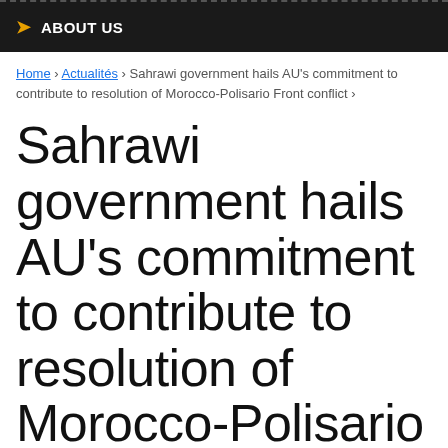ABOUT US
Home › Actualités › Sahrawi government hails AU's commitment to contribute to resolution of Morocco-Polisario Front conflict ›
Sahrawi government hails AU's commitment to contribute to resolution of Morocco-Polisario Front conflict